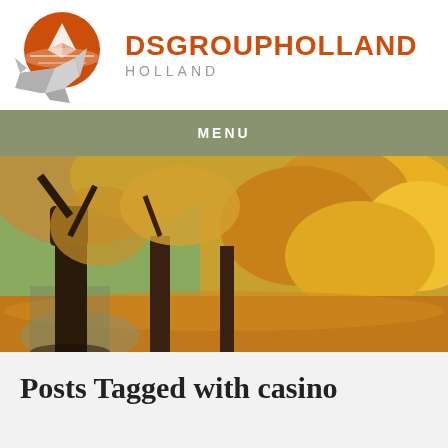[Figure (logo): DSGroupHolland logo: orange circle with white geometric bird/crane origami shape and silver angular bird silhouette in front]
DSGROUPHOLLAND HOLLAND
MENU
[Figure (photo): Autumn scene with large trees lining a path, golden-yellow maple leaves filling the frame, fallen leaves on the ground, warm fall colors]
Posts Tagged with casino